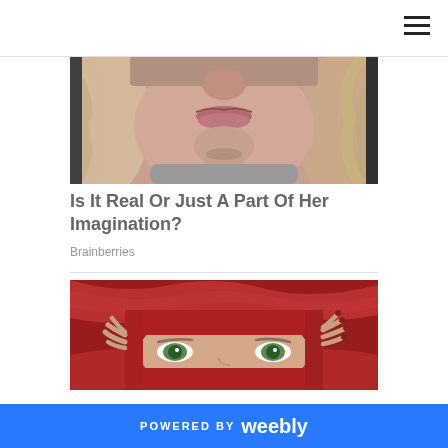[Figure (photo): Close-up photo of a woman's lower face showing chin and lips, with wavy blonde hair and grey sweater]
Is It Real Or Just A Part Of Her Imagination?
Brainberries
[Figure (photo): Woman with striking green eyes peering out from under a red knit fabric/hood, with red-painted fingernails visible at edges]
POWERED BY weebly